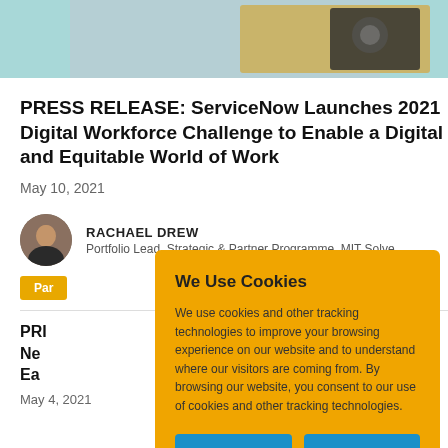[Figure (photo): Header image showing a person with a camera against a teal/blue background]
PRESS RELEASE: ServiceNow Launches 2021 Digital Workforce Challenge to Enable a Digital and Equitable World of Work
May 10, 2021
RACHAEL DREW
Portfolio Lead, Strategic & Partner Programme, MIT Solve
Par
PRI Ne... Ear...
May 4, 2021
We Use Cookies
We use cookies and other tracking technologies to improve your browsing experience on our website and to understand where our visitors are coming from. By browsing our website, you consent to our use of cookies and other tracking technologies.
ACCEPT
REJECT